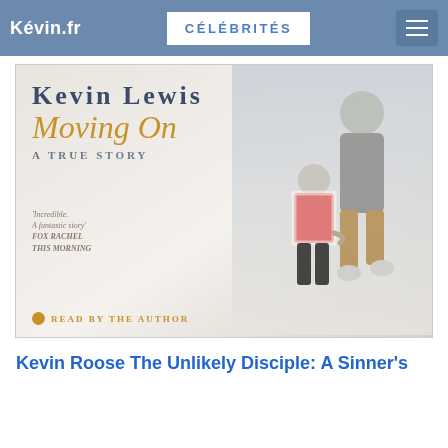Kévin.fr | CÉLÉBRITÉS
[Figure (photo): Book cover of 'Kevin Lewis Moving On: A True Story' audiobook, read by the author. Shows two figures (an adult and a child) walking away, holding hands. Published by Penguin.]
Kevin Roose The Unlikely Disciple: A Sinner's